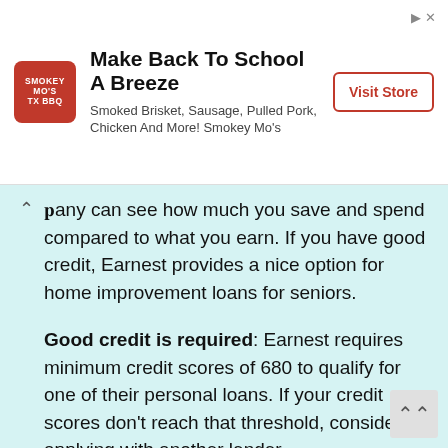[Figure (screenshot): Advertisement banner for Smokey Mo's TX BBQ. Features a red square logo with white text reading 'SMOKEY MO'S TX BBQ', a headline 'Make Back To School A Breeze', subtitle text 'Smoked Brisket, Sausage, Pulled Pork, Chicken And More! Smokey Mo's', and a 'Visit Store' button with red border.]
pany can see how much you save and spend compared to what you earn. If you have good credit, Earnest provides a nice option for home improvement loans for seniors.
Good credit is required: Earnest requires minimum credit scores of 680 to qualify for one of their personal loans. If your credit scores don't reach that threshold, consider applying with another lender.